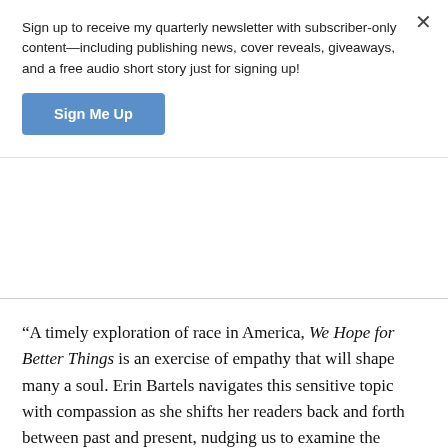Sign up to receive my quarterly newsletter with subscriber-only content—including publishing news, cover reveals, giveaways, and a free audio short story just for signing up!
Sign Me Up
“A timely exploration of race in America, We Hope for Better Things is an exercise of empathy that will shape many a soul. Erin Bartels navigates this sensitive topic with compassion as she shifts her readers back and forth between past and present, nudging us to examine the secrets we keep, the grudges we hold, and the prejudices we may help create even without intention.”—Julie Cantrell, New York Times and USA TODAY bestselling author of Perennials